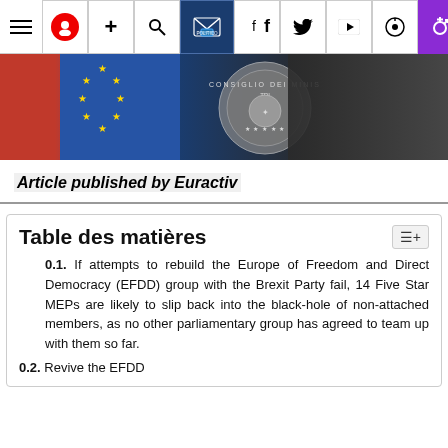Navigation bar with icons: hamburger menu, user (red), plus, search, email (Politico Europe), facebook, twitter, youtube, pinterest, gender (purple)
[Figure (photo): Photo of a person at a podium with Italian flag and EU flag in background, 'Consiglio dei Ministri' seal visible]
Article published by Euractiv
Table des matières
0.1. If attempts to rebuild the Europe of Freedom and Direct Democracy (EFDD) group with the Brexit Party fail, 14 Five Star MEPs are likely to slip back into the black-hole of non-attached members, as no other parliamentary group has agreed to team up with them so far.
0.2. Revive the EFDD